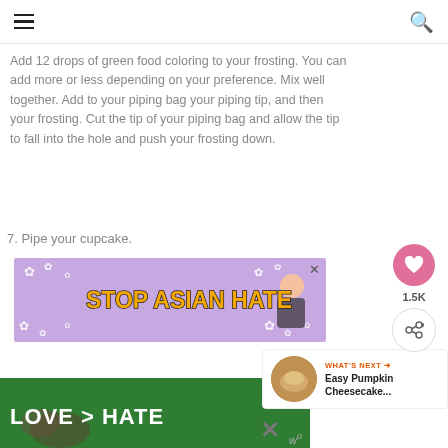≡  🔍
Add 12 drops of green food coloring to your frosting. You can add more or less depending on your preference. Mix well together. Add to your piping bag your piping tip, and then your frosting. Cut the tip of your piping bag and allow the tip to fall into the hole and push your frosting down.
7. Pipe your cupcake.
[Figure (infographic): Purple STOP ASIAN HATE advertisement banner with flower decorations and a girl illustration. Has a close X button.]
[Figure (infographic): Social media sidebar with heart button showing 1.5K likes and a share button.]
[Figure (infographic): WHAT'S NEXT panel showing Easy Pumpkin Cheesecake... with a round food thumbnail.]
[Figure (infographic): Green LOVE > HATE advertisement banner at bottom with close X button and W logo.]